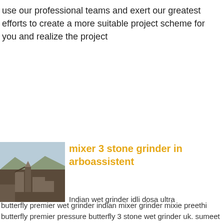use our professional teams and exert our greatest efforts to create a more suitable project scheme for you and realize the project
[Figure (infographic): Contact button widget with dark navy rounded rectangle labeled 'Contact' and a red circular chat icon with 'x' close button, plus a dark 'Chat Now' label below]
[Figure (photo): Aerial photograph of a mining or industrial plant facility with structures and equipment visible, surrounded by arid landscape]
mixer 3 stone grinder in arboassistent
Indian wet grinder idli dosa ultra butterfly premier wet grinder indian mixer grinder mixie preethi butterfly premier pressure butterfly 3 stone wet grinder uk. sumeet grinder uk manufacturers in nigeria . mixer 3 stone grinder in uk butterfly 3 stone wet grinder uk. orecrusherplant Butterfly mixer grinder 2)Preethi 3) Sumeet